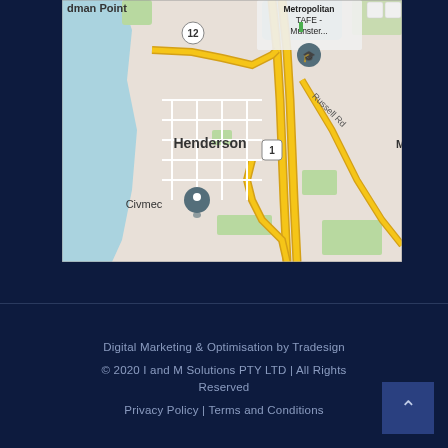[Figure (map): Google Maps screenshot showing Henderson area in Western Australia, with Civmec location marker, Metropolitan TAFE - Munster label, Russell Rd road label, route 1 and route 12 markers, and yellow roads on light grey map background.]
Digital Marketing & Optimisation by Tradesign
© 2020 I and M Solutions PTY LTD | All Rights Reserved
Privacy Policy | Terms and Conditions